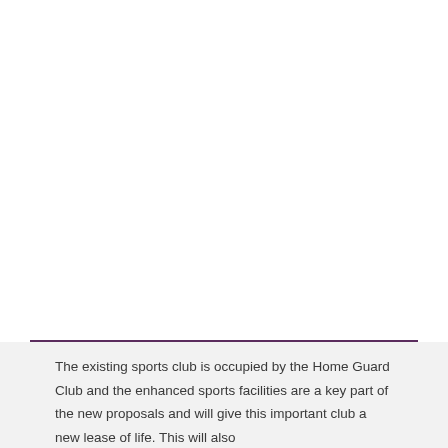The existing sports club is occupied by the Home Guard Club and the enhanced sports facilities are a key part of the new proposals and will give this important club a new lease of life. This will also